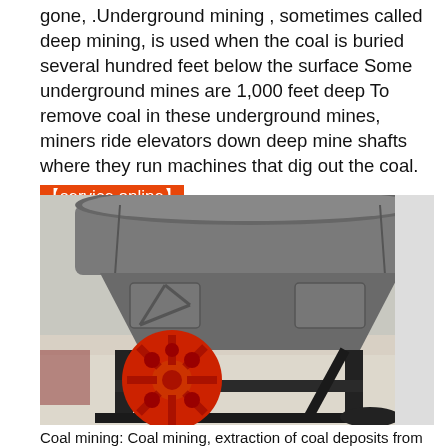gone, .Underground mining , sometimes called deep mining, is used when the coal is buried several hundred feet below the surface Some underground mines are 1,000 feet deep To remove coal in these underground mines, miners ride elevators down deep mine shafts where they run machines that dig out the coal.
【service online】
[Figure (photo): Industrial mining machine (cone crusher) with a large grey metal body on a black metal stand, featuring a prominent red flywheel/pulley wheel on the front side, photographed in an indoor industrial setting.]
Coal mining: Coal mining, extraction of coal deposits from the surface of Earth and from underground Coal is the